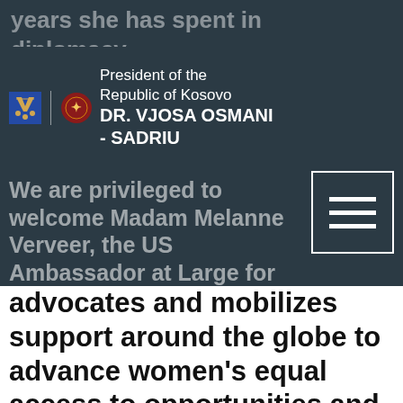years she has spent in diplomacy.
President of the Republic of Kosovo DR. VJOSA OSMANI - SADRIU
We are privileged to welcome Madam Melanne Verveer, the US Ambassador at Large for Global Women's Issues, who advocates and mobilizes support around the globe to advance women's equal access to opportunities and services, and someone who has taken a great interest in helping women